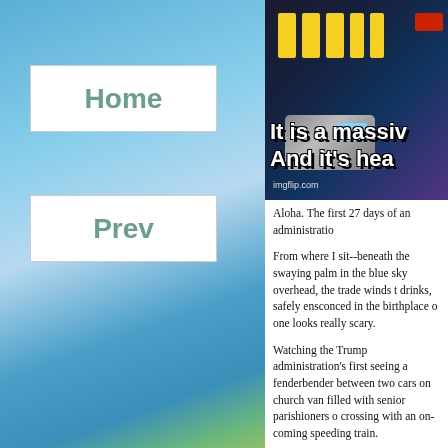Home
Prev
[Figure (photo): Screenshot of an internet meme showing a Star Trek-style handheld scanner device against a dark background with yellow and red lights, with bold white Impact-font text reading 'It is a massive' and 'And it's hea' (cropped). Source watermark: imgflip.com]
Aloha. The first 27 days of an administratio
From where I sit--beneath the swaying pal in the blue sky overhead, the trade winds t drinks, safely ensconced in the birthplace o one looks really scary.
Watching the Trump administration's first seeing a fenderbender between two cars o church van filled with senior parishioners o crossing with an on-coming speeding train.
The transition, according to our brand new